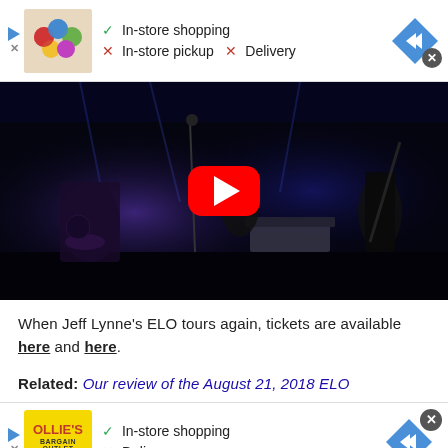[Figure (screenshot): Ad banner with product image (colorful balls/toys), showing In-store shopping (checkmark), In-store pickup (X), Delivery (X), with navigation diamond button]
[Figure (screenshot): YouTube video thumbnail of Jeff Lynne's ELO concert, dark stage with performers, red YouTube play button in center]
When Jeff Lynne's ELO tours again, tickets are available here and here.
Related: Our review of the August 21, 2018 ELO
[Figure (screenshot): Ad banner with Ollie's Bargain Outlet yellow logo, showing In-store shopping (checkmark), Delivery (X), with navigation diamond button and close X]